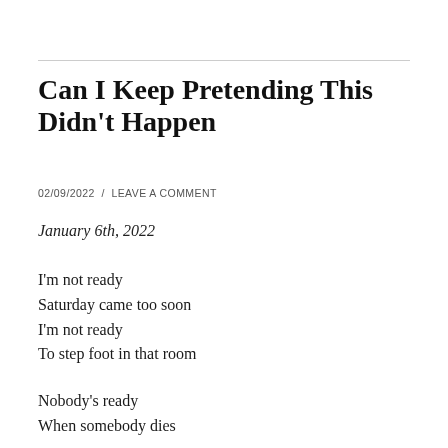Can I Keep Pretending This Didn't Happen
02/09/2022  /  LEAVE A COMMENT
January 6th, 2022
I'm not ready
Saturday came too soon
I'm not ready
To step foot in that room
Nobody's ready
When somebody dies